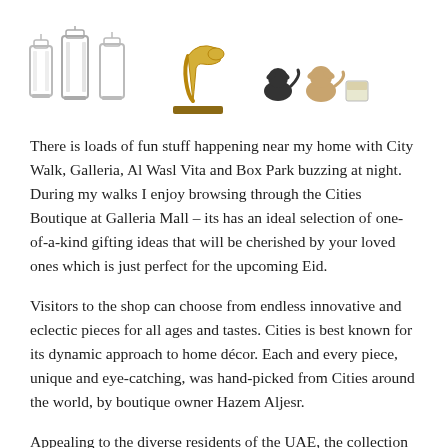[Figure (photo): Three product images: decorative lanterns on the left, a gold high-heel shoe trophy in the center, and small decorative dog figurines with accessories on the right.]
There is loads of fun stuff happening near my home with City Walk, Galleria, Al Wasl Vita and Box Park buzzing at night. During my walks I enjoy browsing through the Cities Boutique at Galleria Mall – its has an ideal selection of one-of-a-kind gifting ideas that will be cherished by your loved ones which is just perfect for the upcoming Eid.
Visitors to the shop can choose from endless innovative and eclectic pieces for all ages and tastes. Cities is best known for its dynamic approach to home décor. Each and every piece, unique and eye-catching, was hand-picked from Cities around the world, by boutique owner Hazem Aljesr.
Appealing to the diverse residents of the UAE, the collection includes works by a variety of local and international artists, providing an eclectic collection of